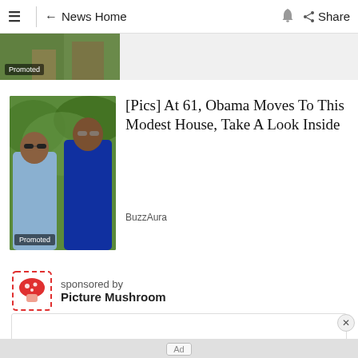≡ ← News Home 🔔 Share
[Figure (photo): Partial photo strip at top with Promoted label]
[Figure (photo): Photo of two people outdoors with greenery background, Promoted label overlay]
[Pics] At 61, Obama Moves To This Modest House, Take A Look Inside
BuzzAura
sponsored by Picture Mushroom
[Figure (logo): Picture Mushroom app logo — red mushroom icon with dashed red border frame]
[Figure (other): White ad content area with close button (×)]
Ad